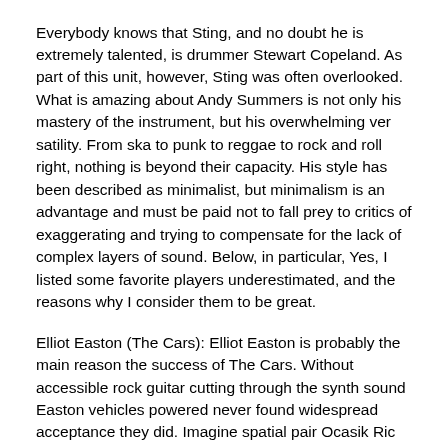Everybody knows that Sting, and no doubt he is extremely talented, is drummer Stewart Copeland. As part of this unit, however, Sting was often overlooked. What is amazing about Andy Summers is not only his mastery of the instrument, but his overwhelming versatility. From ska to punk to reggae to rock and roll right, nothing is beyond their capacity. His style has been described as minimalist, but minimalism is an advantage and must be paid not to fall prey to critics of exaggerating and trying to compensate for the lack of complex layers of sound. Below, in particular, Yes, I listed some favorite players underestimated, and the reasons why I consider them to be great.
Elliot Easton (The Cars): Elliot Easton is probably the main reason the success of The Cars. Without accessible rock guitar cutting through the synth sound Easton vehicles powered never found widespread acceptance they did. Imagine spatial pair Ocasik Ric and Gregg playing over a guitarist and also influenced new wave and had a type of music that would appeal to people on a large scale. Easton Hollyesque sound, however, served to cars commercially viable. "My girlfriend of my best friend" from his debut album is an excellent example of how Easton's contribution is essential in creating commercially successful albums for cars.
Warren DiMartini (Ratt): What impresses me DiMartini is that...